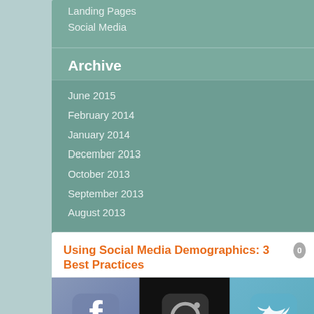Landing Pages
Social Media
Archive
June 2015
February 2014
January 2014
December 2013
October 2013
September 2013
August 2013
Using Social Media Demographics: 3 Best Practices
[Figure (photo): Social media icons: Facebook, Instagram, Twitter]